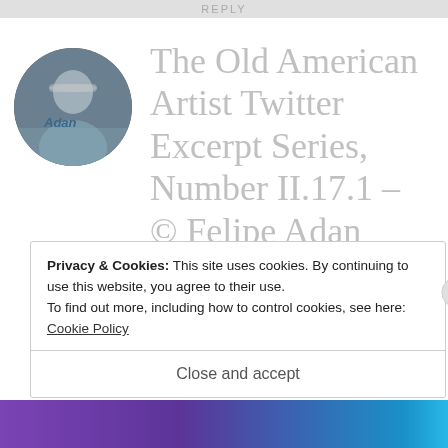REPLY
[Figure (photo): Circular profile photo of a person wearing a helmet, outdoors near water]
The Old American Artist Twitter Excerpt Series, Number II.17.1 – © Felipe Adan Lerma – All Rights Reserved Blogging at
Privacy & Cookies: This site uses cookies. By continuing to use this website, you agree to their use.
To find out more, including how to control cookies, see here: Cookie Policy
Close and accept